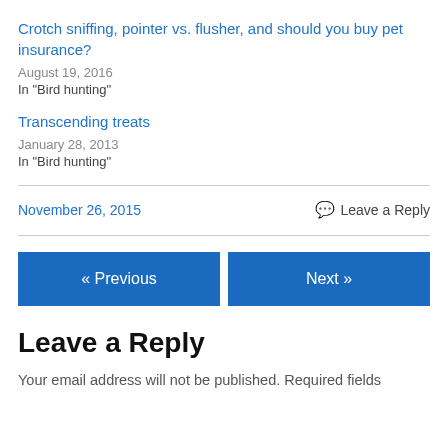Crotch sniffing, pointer vs. flusher, and should you buy pet insurance?
August 19, 2016
In "Bird hunting"
Transcending treats
January 28, 2013
In "Bird hunting"
November 26, 2015
Leave a Reply
« Previous
Next »
Leave a Reply
Your email address will not be published. Required fields